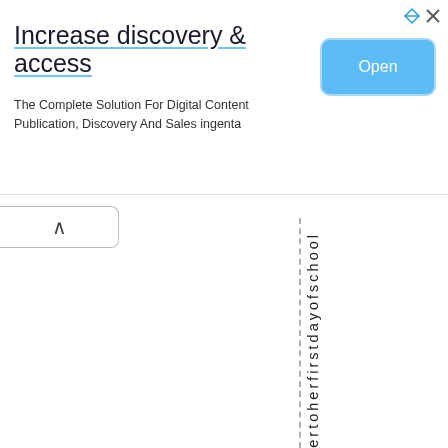[Figure (screenshot): Advertisement banner for ingenta digital content platform. Title: 'Increase discovery & access'. Subtitle: 'The Complete Solution For Digital Content Publication, Discovery And Sales ingenta'. Blue 'Open' button on the right.]
tertoherfirstdayofschool